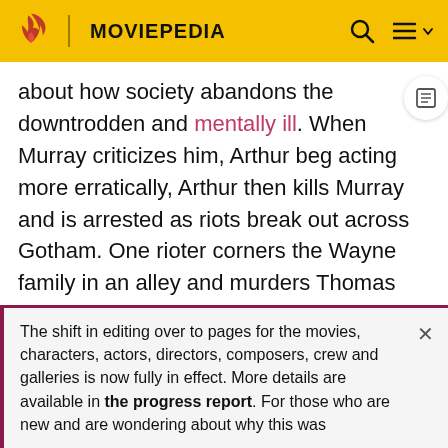MOVIEPEDIA
about how society abandons the downtrodden and mentally ill. When Murray criticizes him, Arthur beg acting more erratically, Arthur then kills Murray and is arrested as riots break out across Gotham. One rioter corners the Wayne family in an alley and murders Thomas and his wife, Martha, sparing Bruce.[a] Rioters in an ambulance crash into the police car carrying Arthur, freeing him; he dances to the cheers of the crowd.
At Arkham, Arthur laughs to himself about a joke and tells his psychiatrist she would not understand it. He runs from
The shift in editing over to pages for the movies, characters, actors, directors, composers, crew and galleries is now fully in effect. More details are available in the progress report. For those who are new and are wondering about why this was